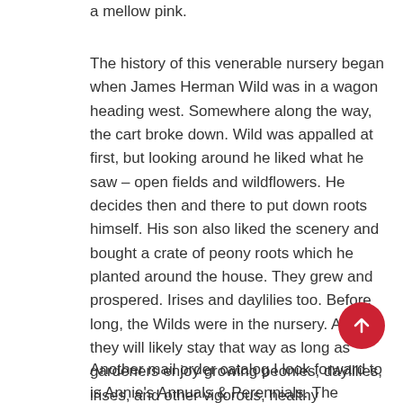a mellow pink.
The history of this venerable nursery began when James Herman Wild was in a wagon heading west. Somewhere along the way, the cart broke down. Wild was appalled at first, but looking around he liked what he saw – open fields and wildflowers. He decides then and there to put down roots himself. His son also liked the scenery and bought a crate of peony roots which he planted around the house. They grew and prospered. Irises and daylilies too. Before long, the Wilds were in the nursery. And they will likely stay that way as long as gardeners enjoy growing peonies, daylilies, irises, and other vigorous, healthy perennials.
Another mail order catalog I look forward to is Annie's Annuals & Perennials. The owner, Annie